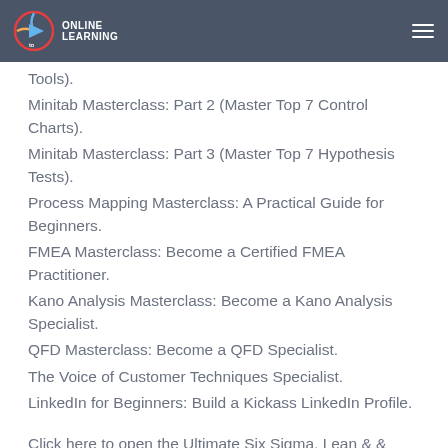Online Learning (logo and navigation bar)
Tools).
Minitab Masterclass: Part 2 (Master Top 7 Control Charts).
Minitab Masterclass: Part 3 (Master Top 7 Hypothesis Tests).
Process Mapping Masterclass: A Practical Guide for Beginners.
FMEA Masterclass: Become a Certified FMEA Practitioner.
Kano Analysis Masterclass: Become a Kano Analysis Specialist.
QFD Masterclass: Become a QFD Specialist.
The Voice of Customer Techniques Specialist.
LinkedIn for Beginners: Build a Kickass LinkedIn Profile.
Click here to open the Ultimate Six Sigma, Lean & & Quality Management Bootcamp on Ghacks Deals.